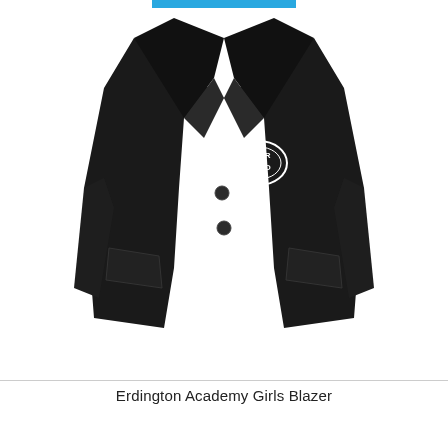[Figure (photo): A black school blazer with a circular 'YOUR LOGO' placeholder emblem on the left chest pocket area. The blazer is displayed on a white background with a blue bar at the top of the image.]
Erdington Academy Girls Blazer